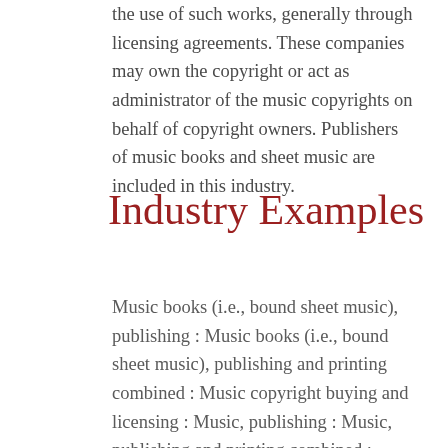the use of such works, generally through licensing agreements. These companies may own the copyright or act as administrator of the music copyrights on behalf of copyright owners. Publishers of music books and sheet music are included in this industry.
Industry Examples
Music books (i.e., bound sheet music), publishing : Music books (i.e., bound sheet music), publishing and printing combined : Music copyright buying and licensing : Music, publishing : Music, publishing and printing combined : Publishing music : Sheet music, publishing : Sheet music, publishing and printing combined : Song publishing : Song publishing